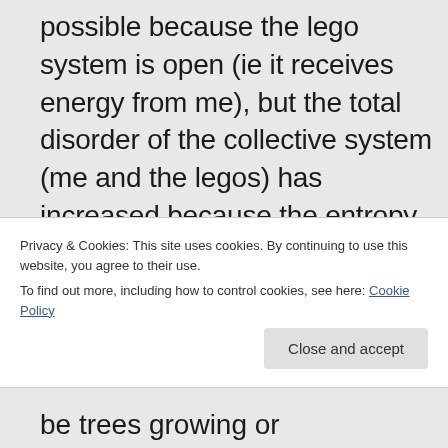possible because the lego system is open (ie it receives energy from me), but the total disorder of the collective system (me and the legos) has increased because the entropy gain from the energy that I spent building the lego set is greater than the entropy loss from having more ordered
Privacy & Cookies: This site uses cookies. By continuing to use this website, you agree to their use.
To find out more, including how to control cookies, see here: Cookie Policy
Close and accept
be trees growing or